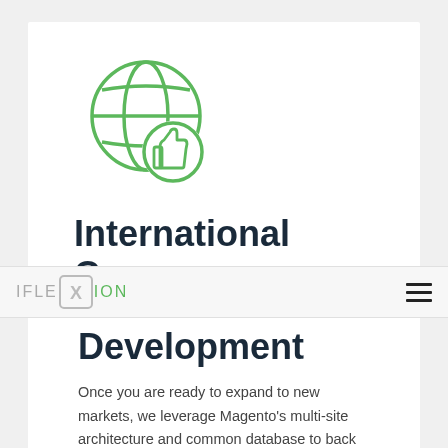[Figure (illustration): Green outline icon of a globe with a thumbs-up badge overlapping the bottom-right of the globe. Both elements are drawn in green outline style on white background.]
International Commerce Development
[Figure (logo): IFLEXION logo: 'IFLE' in grey, a grey X inside a rounded square bracket box, 'ION' in green. Navigation bar with hamburger menu icon on the right.]
Once you are ready to expand to new markets, we leverage Magento’s multi-site architecture and common database to back this strategic decision and help you avoid costly missteps. We deploy multiple storefronts while ensuring consistent